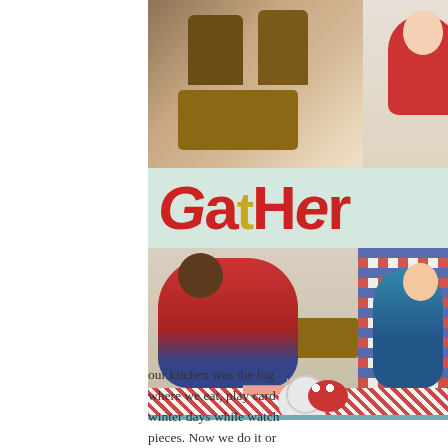[Figure (photo): Scrapbook page showing dining room table with chairs (top photo), colorful 'Gather' title banner in red and gold lettering on light green background, photo of person in red sweater sitting at table with another person, decorative owl embellishment, striped and teal paper elements with dashed line border]
our kitchen was the log where we eat, play card winter days while watch pieces. Now we do it on